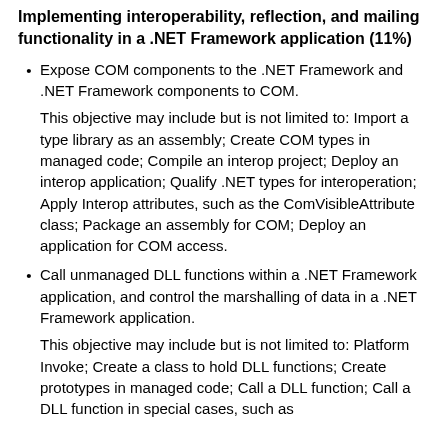Implementing interoperability, reflection, and mailing functionality in a .NET Framework application (11%)
Expose COM components to the .NET Framework and .NET Framework components to COM.
This objective may include but is not limited to: Import a type library as an assembly; Create COM types in managed code; Compile an interop project; Deploy an interop application; Qualify .NET types for interoperation; Apply Interop attributes, such as the ComVisibleAttribute class; Package an assembly for COM; Deploy an application for COM access.
Call unmanaged DLL functions within a .NET Framework application, and control the marshalling of data in a .NET Framework application.
This objective may include but is not limited to: Platform Invoke; Create a class to hold DLL functions; Create prototypes in managed code; Call a DLL function; Call a DLL function in special cases, such as